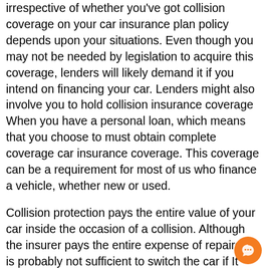irrespective of whether you've got collision coverage on your car insurance plan policy depends upon your situations. Even though you may not be needed by legislation to acquire this coverage, lenders will likely demand it if you intend on financing your car. Lenders might also involve you to hold collision insurance coverage When you have a personal loan, which means that you choose to must obtain complete coverage car insurance coverage. This coverage can be a requirement for most of us who finance a vehicle, whether new or used.
Collision protection pays the entire value of your car inside the occasion of a collision. Although the insurer pays the entire expense of repairs, it is probably not sufficient to switch the car if It truly is stolen or totaled. You may also ought to pay some personal dollars to interchange the car. Should you have this sort of protection, you should definitely understand the terms and conditions ahead of obtaining motor vehicle insurance. It's also wise to realize the deductible, which is separate from the collision deductible.